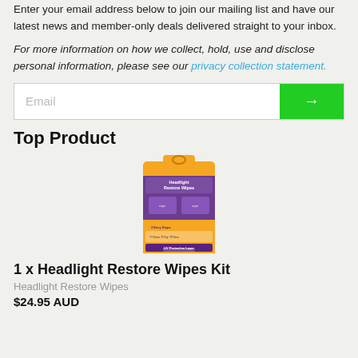Enter your email address below to join our mailing list and have our latest news and member-only deals delivered straight to your inbox.
For more information on how we collect, hold, use and disclose personal information, please see our privacy collection statement.
[Figure (other): Email input field with green submit arrow button]
Top Product
[Figure (photo): Headlight Restore Wipes Kit product box]
1 x Headlight Restore Wipes Kit
Headlight Restore Wipes
$24.95 AUD